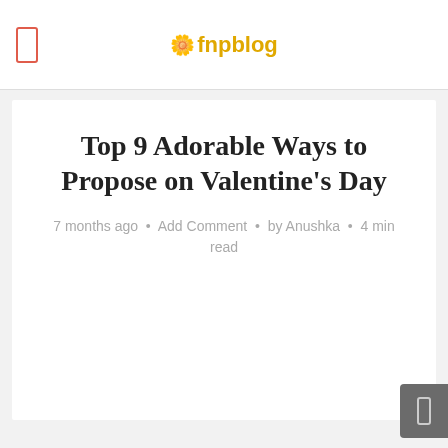🌼fnpblog
Top 9 Adorable Ways to Propose on Valentine's Day
7 months ago · Add Comment · by Anushka · 4 min read